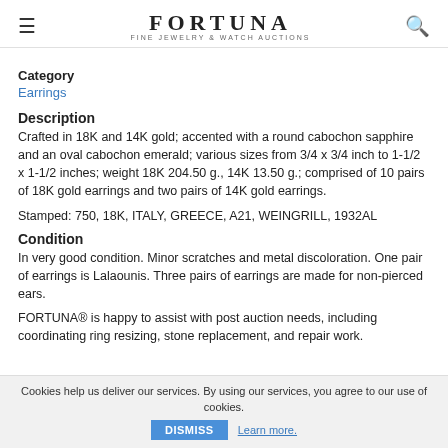FORTUNA FINE JEWELRY & WATCH AUCTIONS
Category
Earrings
Description
Crafted in 18K and 14K gold; accented with a round cabochon sapphire and an oval cabochon emerald; various sizes from 3/4 x 3/4 inch to 1-1/2 x 1-1/2 inches; weight 18K 204.50 g., 14K 13.50 g.; comprised of 10 pairs of 18K gold earrings and two pairs of 14K gold earrings.
Stamped: 750, 18K, ITALY, GREECE, A21, WEINGRILL, 1932AL
Condition
In very good condition. Minor scratches and metal discoloration. One pair of earrings is Lalaounis. Three pairs of earrings are made for non-pierced ears.
FORTUNA® is happy to assist with post auction needs, including coordinating ring resizing, stone replacement, and repair work.
Cookies help us deliver our services. By using our services, you agree to our use of cookies. DISMISS Learn more.